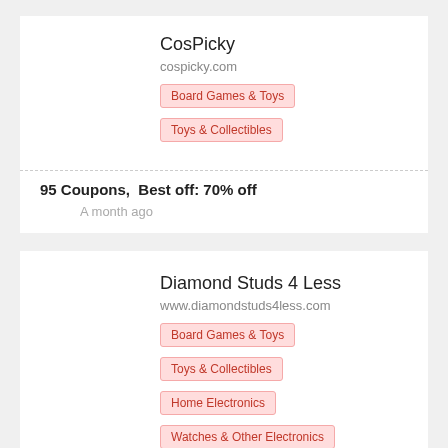CosPicky
cospicky.com
Board Games & Toys
Toys & Collectibles
95 Coupons,  Best off: 70% off
A month ago
Diamond Studs 4 Less
www.diamondstuds4less.com
Board Games & Toys
Toys & Collectibles
Home Electronics
Watches & Other Electronics